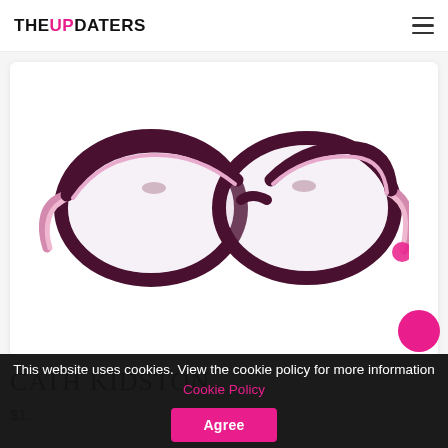THE UPDATERS (navigation bar with hamburger menu)
[Figure (photo): A pair of Cath Kidston eyeglasses with dark maroon/plum frames on the outside and pink inner frame detail, displayed on a white background card.]
CATH KIDSTON
$1.00 (partially visible price)
This website uses cookies. View the cookie policy for more information Cookie Policy  Agree